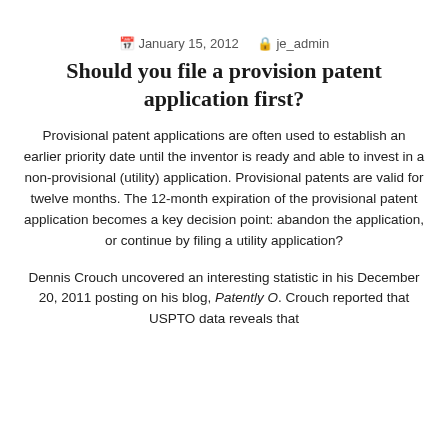January 15, 2012   je_admin
Should you file a provision patent application first?
Provisional patent applications are often used to establish an earlier priority date until the inventor is ready and able to invest in a non-provisional (utility) application. Provisional patents are valid for twelve months. The 12-month expiration of the provisional patent application becomes a key decision point: abandon the application, or continue by filing a utility application?
Dennis Crouch uncovered an interesting statistic in his December 20, 2011 posting on his blog, Patently O. Crouch reported that USPTO data reveals that